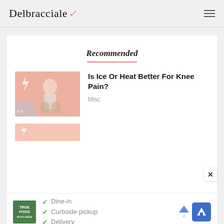Delbracciale
Recommended
Is Ice Or Heat Better For Knee Pain?
Misc
[Figure (screenshot): Advertisement banner: True Food Kitchen logo with checkmarks for Dine-in, Curbside pickup, Delivery and a navigation icon]